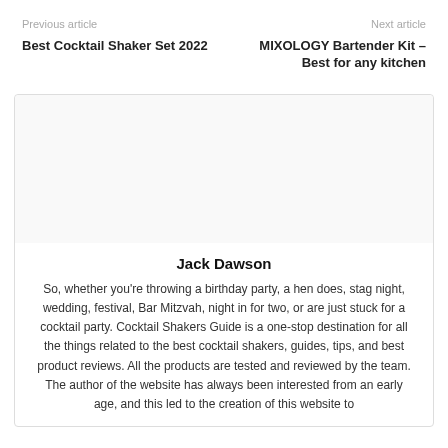Previous article | Next article
Best Cocktail Shaker Set 2022
MIXOLOGY Bartender Kit – Best for any kitchen
Jack Dawson
So, whether you're throwing a birthday party, a hen does, stag night, wedding, festival, Bar Mitzvah, night in for two, or are just stuck for a cocktail party. Cocktail Shakers Guide is a one-stop destination for all the things related to the best cocktail shakers, guides, tips, and best product reviews. All the products are tested and reviewed by the team. The author of the website has always been interested from an early age, and this led to the creation of this website to